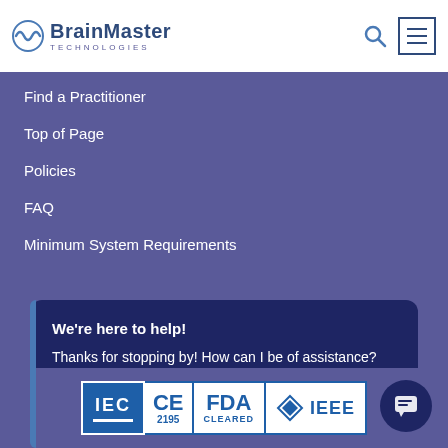BrainMaster Technologies
Find a Practitioner
Top of Page
Policies
FAQ
Minimum System Requirements
We're here to help! Thanks for stopping by! How can I be of assistance?
[Figure (logo): IEC, CE 2195, FDA Cleared, IEEE certification badges]